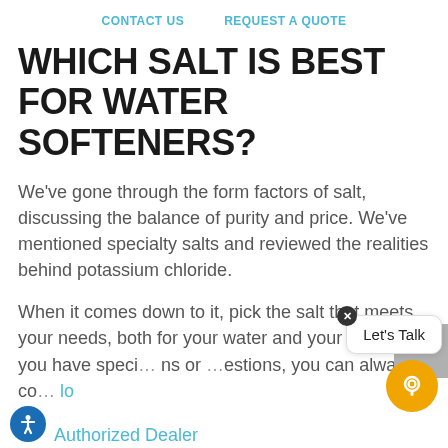CONTACT US   REQUEST A QUOTE
WHICH SALT IS BEST FOR WATER SOFTENERS?
We've gone through the form factors of salt, discussing the balance of purity and price. We've mentioned specialty salts and reviewed the realities behind potassium chloride.
When it comes down to it, pick the salt that meets your needs, both for your water and your wallet. If you have speci… ns or estions, you can always co… lo Authorized Dealer